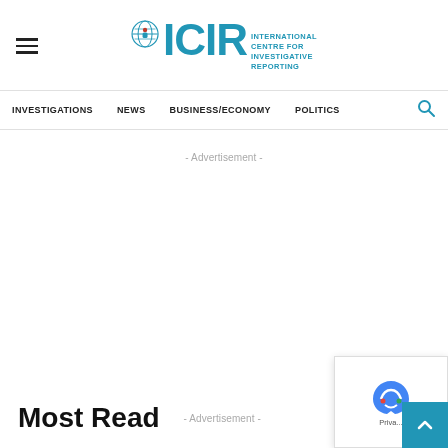[Figure (logo): ICIR - International Centre for Investigative Reporting logo with globe icon]
INVESTIGATIONS  NEWS  BUSINESS/ECONOMY  POLITICS
- Advertisement -
Most Read
- Advertisement -